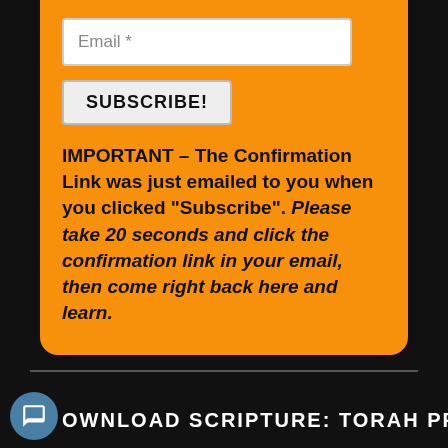Email *
SUBSCRIBE!
IMPORTANT – The Confirmation Link was just emailed to you when you clicked "Subscribe". Please take 20 seconds and click the confirmation link in your email, then come right back here and learn.
DOWNLOAD SCRIPTURE: TORAH PROOF